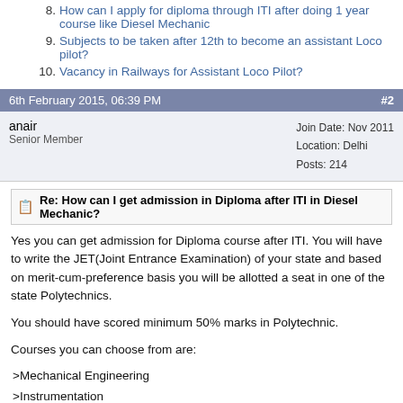8. How can I apply for diploma through ITI after doing 1 year course like Diesel Mechanic
9. Subjects to be taken after 12th to become an assistant Loco pilot?
10. Vacancy in Railways for Assistant Loco Pilot?
6th February 2015, 06:39 PM  #2
anair
Senior Member
Join Date: Nov 2011
Location: Delhi
Posts: 214
Re: How can I get admission in Diploma after ITI in Diesel Mechanic?
Yes you can get admission for Diploma course after ITI. You will have to write the JET(Joint Entrance Examination) of your state and based on merit-cum-preference basis you will be allotted a seat in one of the state Polytechnics.
You should have scored minimum 50% marks in Polytechnic.
Courses you can choose from are:
>Mechanical Engineering
>Instrumentation
>Civil Engineering
>Production
>Electrical Engineering